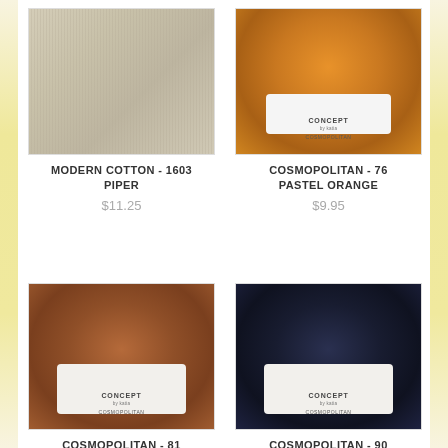[Figure (photo): Skein of beige/natural colored Modern Cotton yarn, showing twisted strands with ridged texture]
MODERN COTTON - 1603 PIPER
$11.25
[Figure (photo): Ball of orange Cosmopolitan yarn by Katia with white label showing CONCEPT COSMOPOLITAN branding]
COSMOPOLITAN - 76 PASTEL ORANGE
$9.95
[Figure (photo): Ball of brown Cosmopolitan yarn by Katia with white label showing CONCEPT COSMOPOLITAN branding]
COSMOPOLITAN - 81 BROWN
[Figure (photo): Ball of dark navy/black Cosmopolitan yarn by Katia with white label showing CONCEPT COSMOPOLITAN branding]
COSMOPOLITAN - 90 BLACK